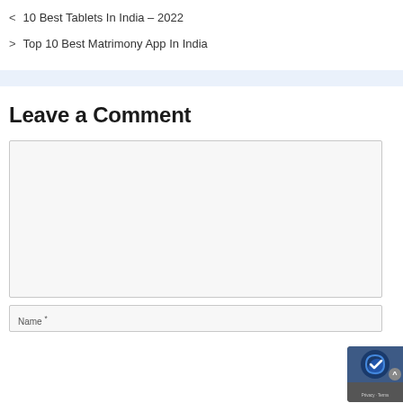< 10 Best Tablets In India – 2022
> Top 10 Best Matrimony App In India
Leave a Comment
[Figure (screenshot): Comment textarea input box (empty, light gray background)]
[Figure (screenshot): Name input field with asterisk label, reCAPTCHA badge overlay in bottom right]
Name *